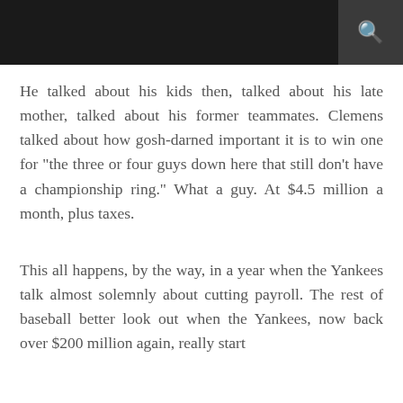He talked about his kids then, talked about his late mother, talked about his former teammates. Clemens talked about how gosh-darned important it is to win one for "the three or four guys down here that still don't have a championship ring." What a guy. At $4.5 million a month, plus taxes.
This all happens, by the way, in a year when the Yankees talk almost solemnly about cutting payroll. The rest of baseball better look out when the Yankees, now back over $200 million again, really start